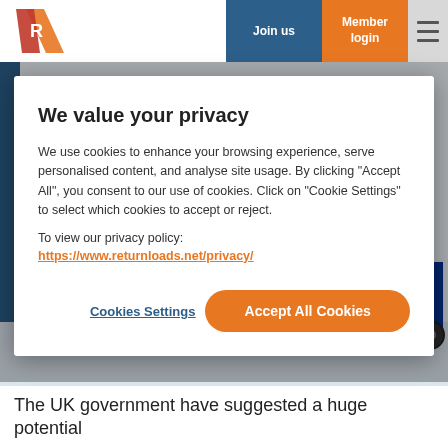Join us | Member login
[Figure (screenshot): Two white delivery trucks with UK flag and EU flag on trailers, logo on cab doors, on a light grey gradient background]
We value your privacy
We use cookies to enhance your browsing experience, serve personalised content, and analyse site usage. By clicking "Accept All", you consent to our use of cookies. Click on "Cookie Settings" to select which cookies to accept or reject.
To view our privacy policy:   https://www.returnloads.net/privacy/
Cookies Settings   Accept All Cookies
The UK government have suggested a huge potential